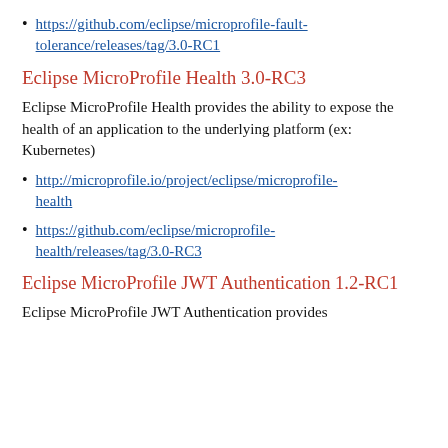https://github.com/eclipse/microprofile-fault-tolerance/releases/tag/3.0-RC1
Eclipse MicroProfile Health 3.0-RC3
Eclipse MicroProfile Health provides the ability to expose the health of an application to the underlying platform (ex: Kubernetes)
http://microprofile.io/project/eclipse/microprofile-health
https://github.com/eclipse/microprofile-health/releases/tag/3.0-RC3
Eclipse MicroProfile JWT Authentication 1.2-RC1
Eclipse MicroProfile JWT Authentication provides